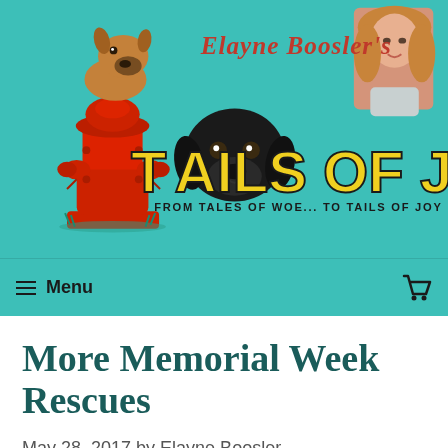[Figure (logo): Elayne Boosler's Tails of Joy logo banner featuring a red fire hydrant with dogs, black labrador dog face in center, a woman's photo top right, teal/turquoise background, with text 'Elayne Boosler's', 'TAILS OF JOY', and tagline 'FROM TALES OF WOE... TO TAILS OF JOY']
Menu
More Memorial Week Rescues
May 28, 2017 by Elayne Boosler